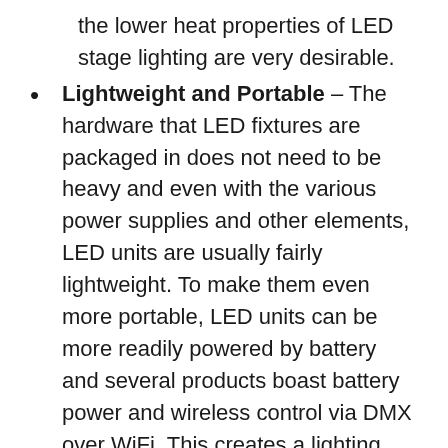the lower heat properties of LED stage lighting are very desirable.
Lightweight and Portable – The hardware that LED fixtures are packaged in does not need to be heavy and even with the various power supplies and other elements, LED units are usually fairly lightweight. To make them even more portable, LED units can be more readily powered by battery and several products boast battery power and wireless control via DMX over WiFi. This creates a lighting product that you can place and control quickly with no messy wires and a minimum of fuss.
Color Effects – A common use of LED for stage